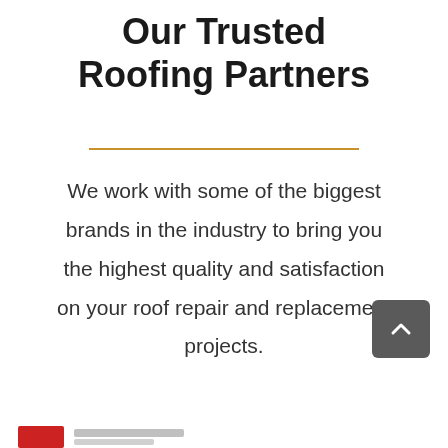Our Trusted Roofing Partners
We work with some of the biggest brands in the industry to bring you the highest quality and satisfaction on your roof repair and replacement projects.
[Figure (other): Back-to-top scroll button: a dark gray rounded square with a white upward-pointing chevron arrow]
[Figure (logo): Partial roofing brand logo at the bottom left: a red horizontal bar with partially visible text to its right]